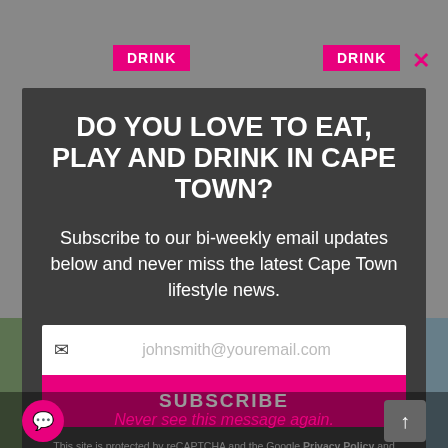[Figure (screenshot): Website background with DRINK category labels and a modal subscription popup overlay on a dark gray background]
DO YOU LOVE TO EAT, PLAY AND DRINK IN CAPE TOWN?
Subscribe to our bi-weekly email updates below and never miss the latest Cape Town lifestyle news.
johnsmith@youremail.com
SUBSCRIBE
This site is protected by reCAPTCHA and the Google Privacy Policy and Terms of Service apply.
Never see this message again.